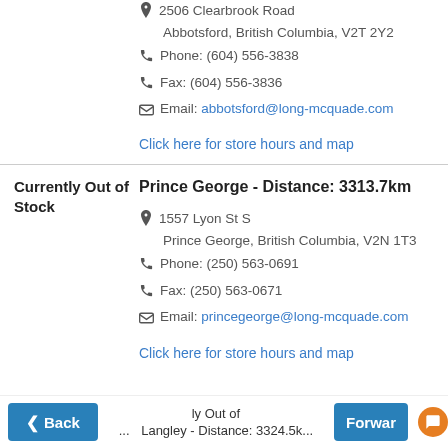2506 Clearbrook Road Abbotsford, British Columbia, V2T 2Y2 Phone: (604) 556-3838 Fax: (604) 556-3836 Email: abbotsford@long-mcquade.com
Click here for store hours and map
Currently Out of Stock
Prince George - Distance: 3313.7km
1557 Lyon St S Prince George, British Columbia, V2N 1T3 Phone: (250) 563-0691 Fax: (250) 563-0671 Email: princegeorge@long-mcquade.com
Click here for store hours and map
Back | Currently Out of... | Langley - Distance: 3324.5km | Forward